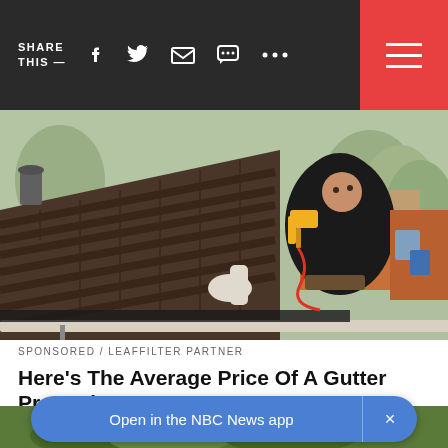SHARE THIS —
[Figure (photo): Worker in black hoodie installing or cleaning gutters on a roof using a yellow power drill, leaning over the edge of a residential rooftop with shingles visible and trees in background]
SPONSORED / LEAFFILTER PARTNER
Here's The Average Price Of A Gutter Protection
See search results for gutter protection
[Figure (screenshot): Partial bottom strip showing grass/outdoor scene with NBC News app open banner overlay]
Open in the NBC News app